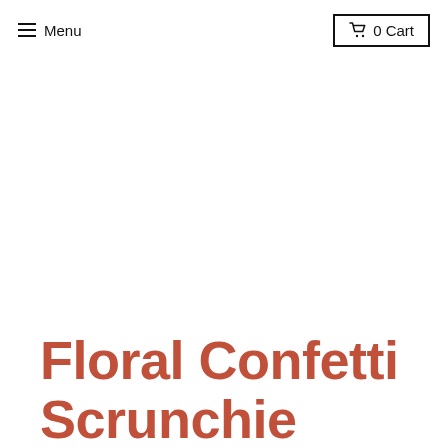☰ Menu  🛒 0 Cart
Floral Confetti Scrunchie